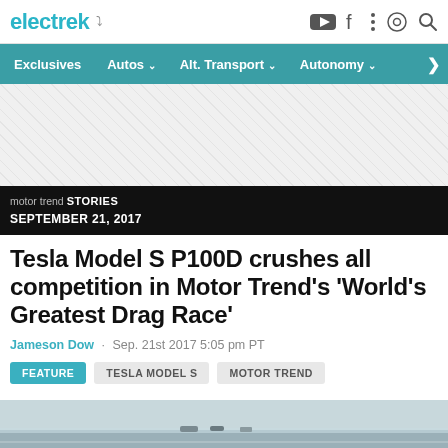electrek
Exclusives  Autos  Alt. Transport  Autonomy
[Figure (other): Advertisement placeholder with diagonal hatch pattern]
motor trend STORIES
SEPTEMBER 21, 2017
Tesla Model S P100D crushes all competition in Motor Trend’s ‘World’s Greatest Drag Race’
Jameson Dow  ·  Sep. 21st 2017 5:05 pm PT
FEATURE   TESLA MODEL S   MOTOR TREND
[Figure (photo): Bottom strip showing a drag race runway/track from a distance]